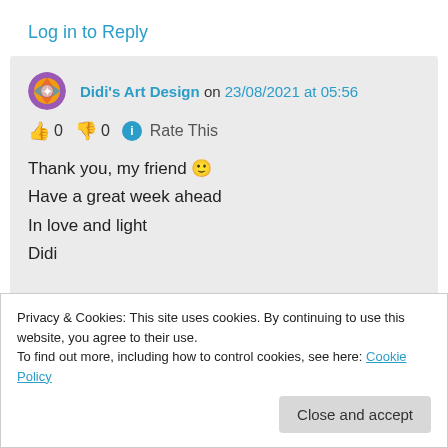Log in to Reply
Didi's Art Design on 23/08/2021 at 05:56
👍 0 👎 0 ℹ Rate This
Thank you, my friend 🙂
Have a great week ahead
In love and light
Didi
Privacy & Cookies: This site uses cookies. By continuing to use this website, you agree to their use.
To find out more, including how to control cookies, see here: Cookie Policy
Close and accept
👍 0 👎 0 ℹ Rate This